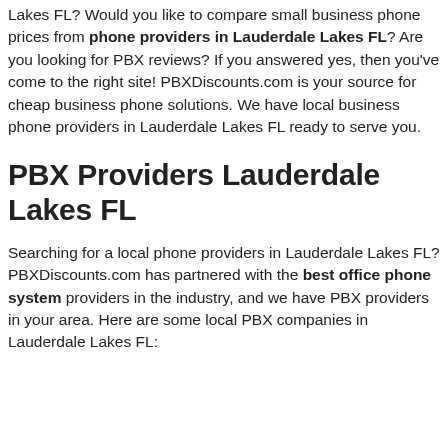Lakes FL? Would you like to compare small business phone prices from phone providers in Lauderdale Lakes FL? Are you looking for PBX reviews? If you answered yes, then you've come to the right site! PBXDiscounts.com is your source for cheap business phone solutions. We have local business phone providers in Lauderdale Lakes FL ready to serve you.
PBX Providers Lauderdale Lakes FL
Searching for a local phone providers in Lauderdale Lakes FL? PBXDiscounts.com has partnered with the best office phone system providers in the industry, and we have PBX providers in your area. Here are some local PBX companies in Lauderdale Lakes FL: